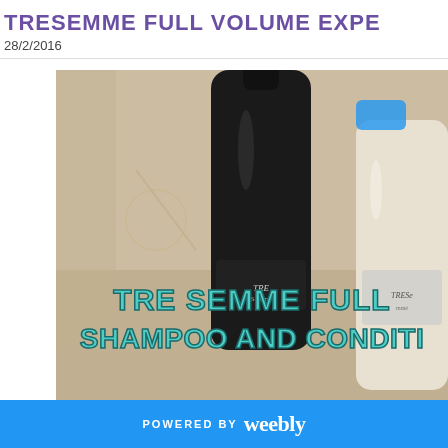TRESEMME FULL VOLUME EXPE
28/2/2016
[Figure (photo): Photo of TRESemmé Full Volume shampoo (dark bottle) and conditioner (white bottle) products on a light background, with overlay text reading 'TRE SEMME FULL SHAMPOO AND CONDITI']
POWERED BY weebly